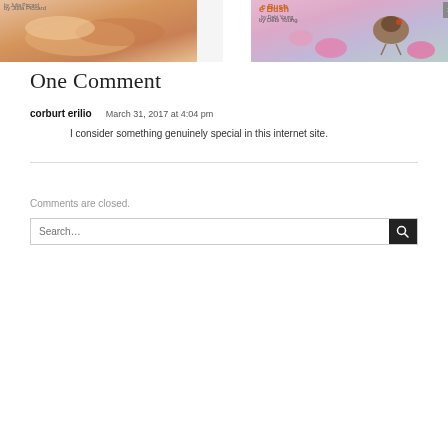[Figure (photo): Two photos side by side: left shows elderly hands (skin texture, peach/tan tones) with 'by Julia Piccard' text; right shows a bird on a branch with pink flowers and text 'e Bush by Debi Young']
One Comment
corburt erilio   March 31, 2017 at 4:04 pm
I consider something genuinely special in this internet site.
Comments are closed.
Search…